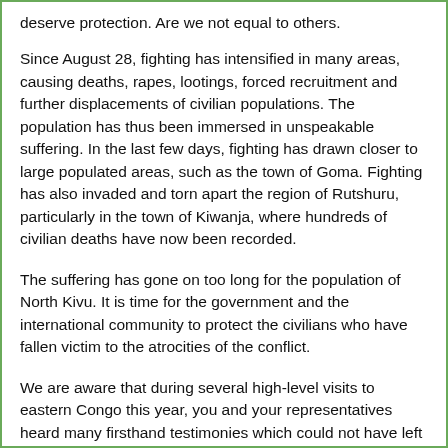deserve protection. Are we not equal to others.
Since August 28, fighting has intensified in many areas, causing deaths, rapes, lootings, forced recruitment and further displacements of civilian populations. The population has thus been immersed in unspeakable suffering. In the last few days, fighting has drawn closer to large populated areas, such as the town of Goma. Fighting has also invaded and torn apart the region of Rutshuru, particularly in the town of Kiwanja, where hundreds of civilian deaths have now been recorded.
The suffering has gone on too long for the population of North Kivu. It is time for the government and the international community to protect the civilians who have fallen victim to the atrocities of the conflict.
We are aware that during several high-level visits to eastern Congo this year, you and your representatives heard many firsthand testimonies which could not have left you indifferent to the tragedy facing the population of our region of the DRC.